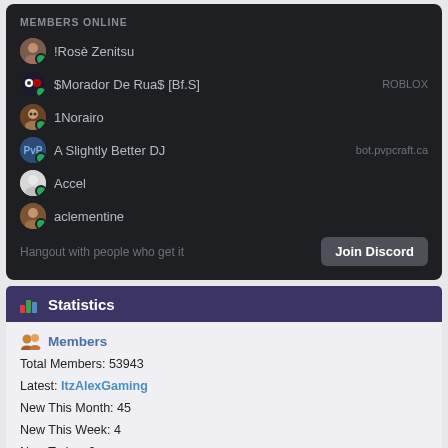MEMBERS ONLINE
!Rosè Zenitsu
$Morador De Rua$ [Bf.S] — ROBLOX
1Norairo
A Slightly Better DJ — bot.pvpcraft.ca
Accel
aclementine
Hangout with people who get it
Join Discord
Statistics
Members
Total Members: 53943
Latest: ItzAlexGaming
New This Month: 45
New This Week: 4
New Today: 2
Stats
Total Posts: 55991
Total Topics: 3364
Most Online Today: 291